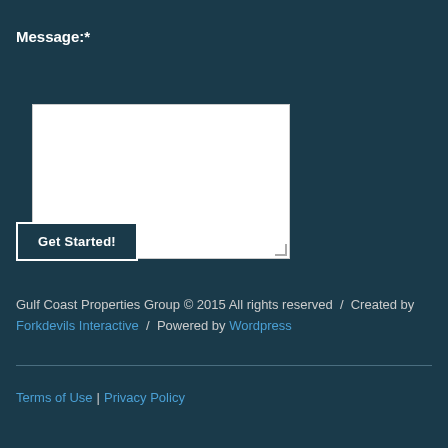Message:*
[textarea input box]
Get Started!
Gulf Coast Properties Group © 2015 All rights reserved / Created by Forkdevils Interactive / Powered by Wordpress
Terms of Use | Privacy Policy